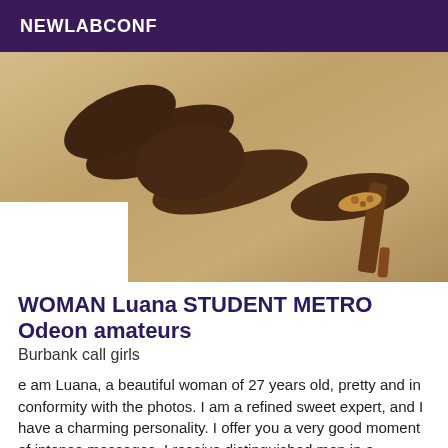NEWLABCONF
[Figure (photo): Photo of a woman's legs and high-heeled shoes on a beige/gold satin surface, cropped to show legs and ornate heeled shoes with leopard-print detail]
WOMAN Luana STUDENT METRO Odeon amateurs
Burbank call girls
e am Luana, a beautiful woman of 27 years old, pretty and in conformity with the photos. I am a refined sweet expert, and I have a charming personality. I offer you a very good moment of intense massages. I receive distinguished men in a pleasant setting, with a lot of discretion, charm, and accompaniment to the 30 mini...